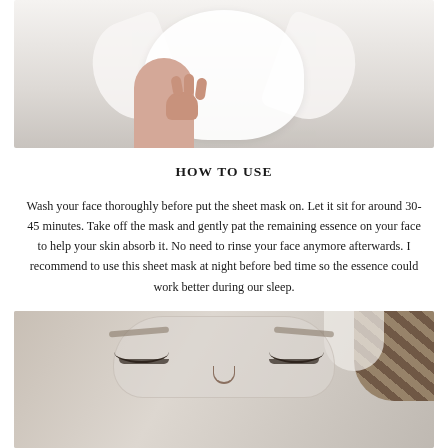[Figure (photo): A person holding up a white sheet mask with both hands against a light grey/white background. The sheet mask is spread open showing its full size.]
HOW TO USE
Wash your face thoroughly before put the sheet mask on. Let it sit for around 30-45 minutes. Take off the mask and gently pat the remaining essence on your face to help your skin absorb it. No need to rinse your face anymore afterwards. I recommend to use this sheet mask at night before bed time so the essence could work better during our sleep.
[Figure (photo): A close-up of a woman's face with eyes closed, wearing a white sheet mask. She has a towel or headband with a spotted pattern on her head.]